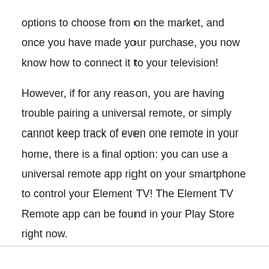options to choose from on the market, and once you have made your purchase, you now know how to connect it to your television!
However, if for any reason, you are having trouble pairing a universal remote, or simply cannot keep track of even one remote in your home, there is a final option: you can use a universal remote app right on your smartphone to control your Element TV! The Element TV Remote app can be found in your Play Store right now.